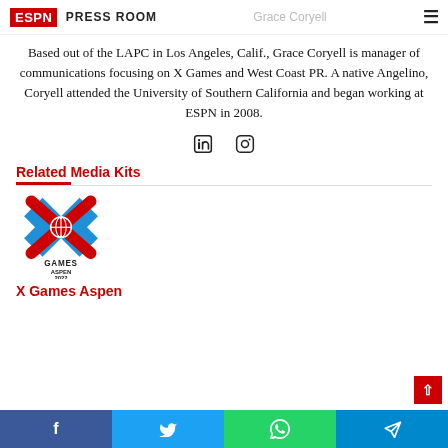ESPN PRESS ROOM — Grace Coryell
Based out of the LAPC in Los Angeles, Calif., Grace Coryell is manager of communications focusing on X Games and West Coast PR. A native Angelino, Coryell attended the University of Southern California and began working at ESPN in 2008.
[Figure (other): LinkedIn and Instagram social media icons]
Related Media Kits
[Figure (logo): X Games Aspen 2022 logo — blue X shape with globe, text GAMES ASPEN 2022]
X Games Aspen
Share buttons: Facebook, Twitter, WhatsApp, Telegram